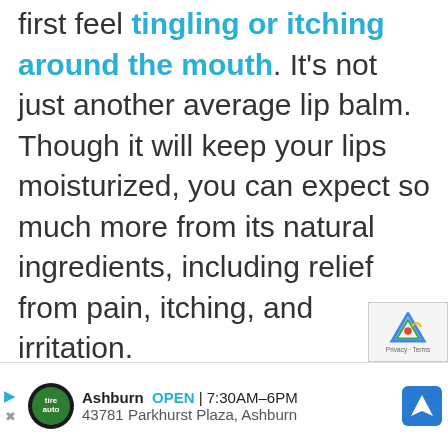first feel tingling or itching around the mouth. It's not just another average lip balm. Though it will keep your lips moisturized, you can expect so much more from its natural ingredients, including relief from pain, itching, and irritation.
[Figure (other): Advertisement bar showing a tire auto service business: Ashburn OPEN 7:30AM-6PM, 43781 Parkhurst Plaza, Ashburn, with logo, navigation arrow icon, and reCAPTCHA badge]